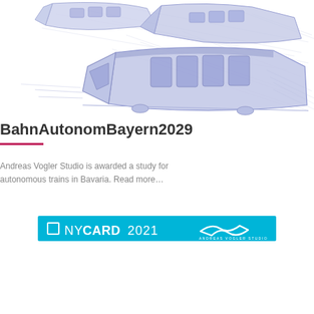[Figure (illustration): Pencil/ink sketch of futuristic autonomous train cars rendered in blue-lavender tones, showing multiple angles of modern rail vehicles with architectural grid lines in the background.]
BahnAutonomBayern2029
Andreas Vogler Studio is awarded a study for autonomous trains in Bavaria. Read more…
[Figure (logo): Cyan/turquoise banner reading 'NYCARD2021' with a stylized wave/tilde logo on the right side and 'ANDREAS VOGLER STUDIO' text below the wave mark.]